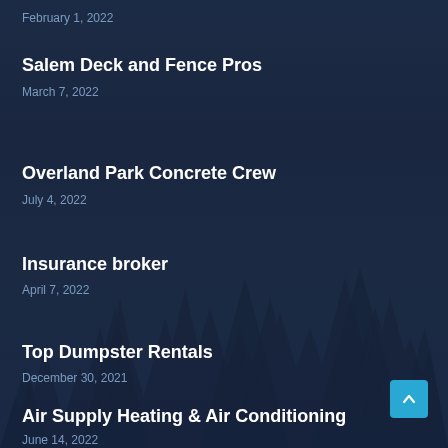February 1, 2022
Salem Deck and Fence Pros
March 7, 2022
Overland Park Concrete Crew
July 4, 2022
Insurance broker
April 7, 2022
Top Dumpster Rentals
December 30, 2021
Air Supply Heating & Air Conditioning
June 14, 2022